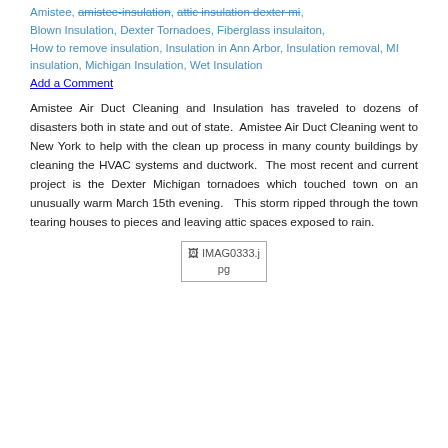Tags: Amistee, amistee-insulation, attic-insulation-dexter-mi, Blown Insulation, Dexter Tornadoes, Fiberglass insulaiton, How to remove insulation, Insulation in Ann Arbor, Insulation removal, MI insulation, Michigan Insulation, Wet Insulation
Add a Comment
Amistee Air Duct Cleaning and Insulation has traveled to dozens of disasters both in state and out of state. Amistee Air Duct Cleaning went to New York to help with the clean up process in many county buildings by cleaning the HVAC systems and ductwork. The most recent and current project is the Dexter Michigan tornadoes which touched town on an unusually warm March 15th evening. This storm ripped through the town tearing houses to pieces and leaving attic spaces exposed to rain.
[Figure (photo): Broken image placeholder showing IMAG0333.jpg]